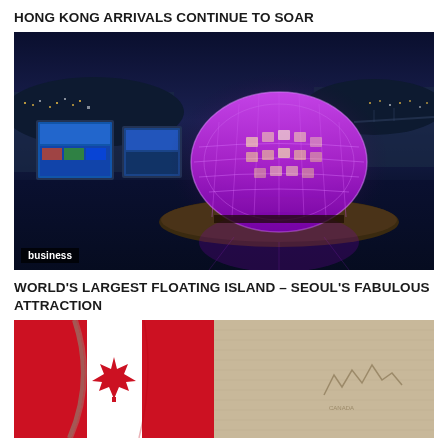HONG KONG ARRIVALS CONTINUE TO SOAR
[Figure (photo): Night aerial view of a large illuminated purple floating island structure on a river, with large LED screens visible on the left, city lights in the background. Label 'business' shown at bottom left.]
WORLD'S LARGEST FLOATING ISLAND – SEOUL'S FABULOUS ATTRACTION
[Figure (photo): Close-up photograph of a Canadian flag (red maple leaf) alongside what appears to be fabric or clothing material with a small graphic pattern.]